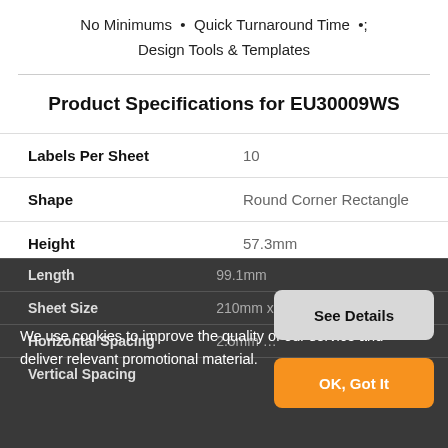No Minimums  •  Quick Turnaround Time  •
Design Tools & Templates
Product Specifications for EU30009WS
| Specification | Value |
| --- | --- |
| Labels Per Sheet | 10 |
| Shape | Round Corner Rectangle |
| Height | 57.3mm |
| Length | 99.1mm |
| Sheet Size | 210mm x 29... |
| Horizontal Spacing | 2.5mm |
| Vertical Spacing | ... |
We use cookies to improve the quality of our service and deliver relevant promotional material.